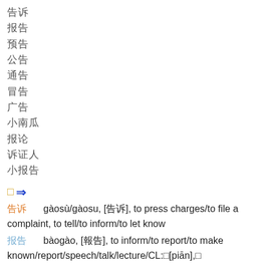□□
□□
□□
□□
□□
□□
□□
□□□
□□
□□□
□□
□ ⇒
□□   gàosù/gàosu, [□□], to press charges/to file a complaint, to tell/to inform/to let know
□□   bàogào, [□□], to inform/to report/to make known/report/speech/talk/lecture/CL:□[piān],□